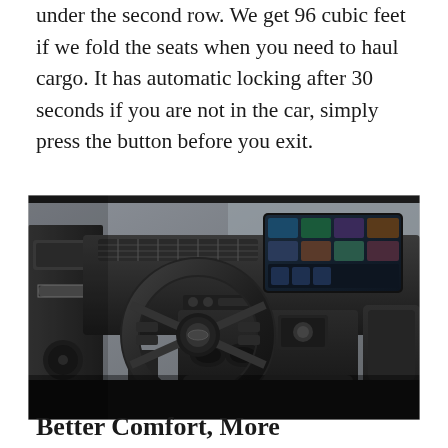under the second row. We get 96 cubic feet if we fold the seats when you need to haul cargo. It has automatic locking after 30 seconds if you are not in the car, simply press the button before you exit.
[Figure (photo): Interior of a luxury SUV (likely Acura MDX) showing the steering wheel, dashboard, center console, and infotainment touchscreen display. The interior features dark leather upholstery and modern styling.]
Better Comfort, More